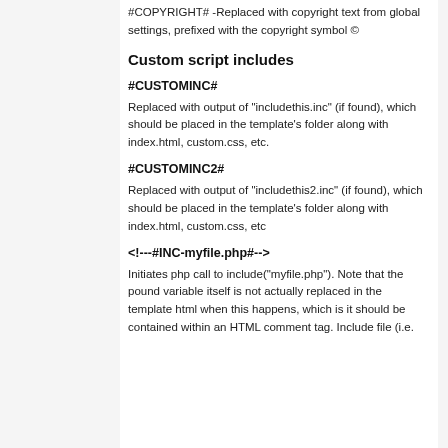#COPYRIGHT# -Replaced with copyright text from global settings, prefixed with the copyright symbol ©
Custom script includes
#CUSTOMINC#
Replaced with output of "includethis.inc" (if found), which should be placed in the template's folder along with index.html, custom.css, etc.
#CUSTOMINC2#
Replaced with output of "includethis2.inc" (if found), which should be placed in the template's folder along with index.html, custom.css, etc
<!---#INC-myfile.php#-->
Initiates php call to include("myfile.php"). Note that the pound variable itself is not actually replaced in the template html when this happens, which is it should be contained within an HTML comment tag. Include file (i.e.